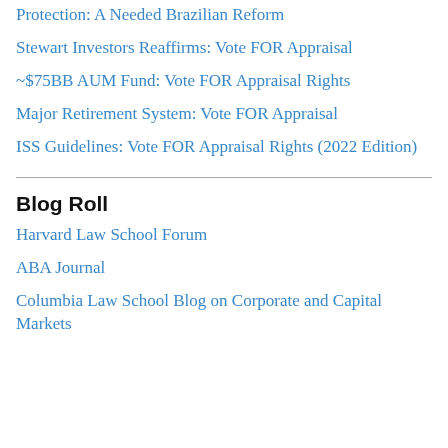Protection: A Needed Brazilian Reform
Stewart Investors Reaffirms: Vote FOR Appraisal
~$75BB AUM Fund: Vote FOR Appraisal Rights
Major Retirement System: Vote FOR Appraisal
ISS Guidelines: Vote FOR Appraisal Rights (2022 Edition)
Blog Roll
Harvard Law School Forum
ABA Journal
Columbia Law School Blog on Corporate and Capital Markets